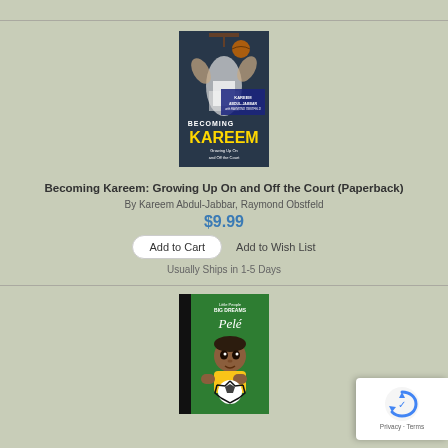[Figure (photo): Book cover of 'Becoming Kareem: Growing Up On and Off the Court' showing Kareem Abdul-Jabbar dunking a basketball in black and white, with gold title text on a dark background]
Becoming Kareem: Growing Up On and Off the Court (Paperback)
By Kareem Abdul-Jabbar, Raymond Obstfeld
$9.99
Add to Cart
Add to Wish List
Usually Ships in 1-5 Days
[Figure (photo): Book cover of 'Pelé' from the Little People Big Dreams series, showing a cartoon illustration of young Pelé holding a soccer ball on a green background]